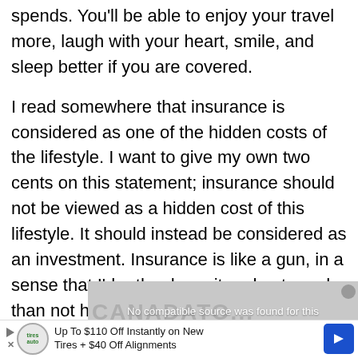spends. You'll be able to enjoy your travel more, laugh with your heart, smile, and sleep better if you are covered.
I read somewhere that insurance is considered as one of the hidden costs of the lifestyle. I want to give my own two cents on this statement; insurance should not be viewed as a hidden cost of this lifestyle. It should instead be considered as an investment. Insurance is like a gun, in a sense that I'd rather have it and not need than not have it when I need it.
[Figure (other): Video player overlay showing 'No compatible source was found for this media.' message with a grey background and close button.]
[Figure (other): Advertisement banner: 'Up To $110 Off Instantly on New Tires + $40 Off Alignments' with a tire service logo and blue directional arrow icon.]